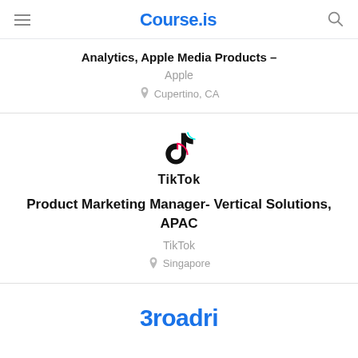Course.is
Analytics, Apple Media Products – Apple, Cupertino, CA
[Figure (logo): TikTok logo with musical note icon and TikTok wordmark]
Product Marketing Manager- Vertical Solutions, APAC
TikTok
Singapore
[Figure (logo): Broadri logo in blue, partially visible]